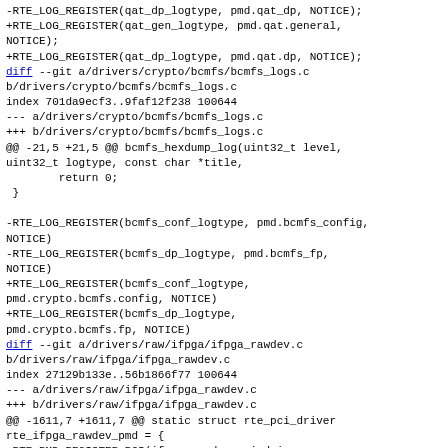-RTE_LOG_REGISTER(qat_dp_logtype, pmd.qat_dp, NOTICE);
+RTE_LOG_REGISTER(qat_gen_logtype, pmd.qat.general, NOTICE);
+RTE_LOG_REGISTER(qat_dp_logtype, pmd.qat.dp, NOTICE);
diff --git a/drivers/crypto/bcmfs/bcmfs_logs.c b/drivers/crypto/bcmfs/bcmfs_logs.c
index 701da9ecf3..9faf12f238 100644
--- a/drivers/crypto/bcmfs/bcmfs_logs.c
+++ b/drivers/crypto/bcmfs/bcmfs_logs.c
@@ -21,5 +21,5 @@ bcmfs_hexdump_log(uint32_t level, uint32_t logtype, const char *title,
        return 0;
 }

-RTE_LOG_REGISTER(bcmfs_conf_logtype, pmd.bcmfs_config, NOTICE)
-RTE_LOG_REGISTER(bcmfs_dp_logtype, pmd.bcmfs_fp, NOTICE)
+RTE_LOG_REGISTER(bcmfs_conf_logtype, pmd.crypto.bcmfs.config, NOTICE)
+RTE_LOG_REGISTER(bcmfs_dp_logtype, pmd.crypto.bcmfs.fp, NOTICE)
diff --git a/drivers/raw/ifpga/ifpga_rawdev.c b/drivers/raw/ifpga/ifpga_rawdev.c
index 27129b133e..56b1866f77 100644
--- a/drivers/raw/ifpga/ifpga_rawdev.c
+++ b/drivers/raw/ifpga/ifpga_rawdev.c
@@ -1611,7 +1611,7 @@ static struct rte_pci_driver rte_ifpga_rawdev_pmd = {
 RTE_PMD_REGISTER_PCI(ifpga_rawdev_pci_driver, rte_ifpga_rawdev_pmd);